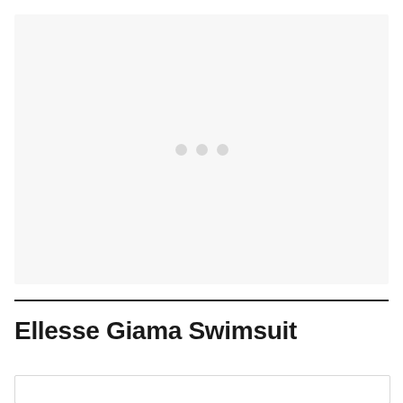[Figure (photo): Product image placeholder area with light gray background and three small gray dots in the center indicating a loading or carousel indicator]
Ellesse Giama Swimsuit